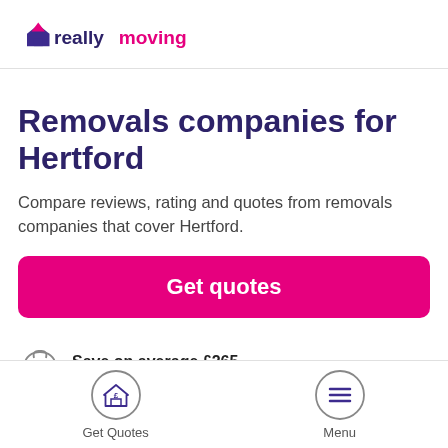[Figure (logo): reallymoving logo with purple/magenta house icon and text 'reallymoving' in purple and pink]
Removals companies for Hertford
Compare reviews, rating and quotes from removals companies that cover Hertford.
Get quotes
Save on average £265
[Figure (infographic): Bottom navigation bar with Get Quotes (house with £ icon) and Menu (hamburger icon) buttons]